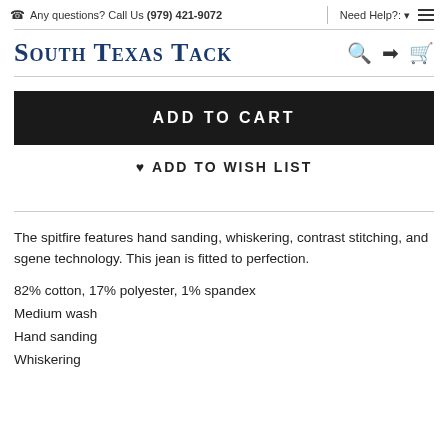Any questions? Call Us (979) 421-9072  |  Need Help?:
South Texas Tack
ADD TO CART
♥ ADD TO WISH LIST
The spitfire features hand sanding, whiskering, contrast stitching, and sgene technology. This jean is fitted to perfection.
82% cotton, 17% polyester, 1% spandex
Medium wash
Hand sanding
Whiskering